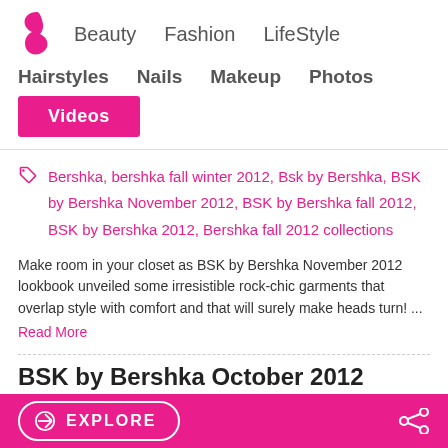Beauty  Fashion  LifeStyle
Hairstyles  Nails  Makeup  Photos
Videos
Bershka, bershka fall winter 2012, Bsk by Bershka, BSK by Bershka November 2012, BSK by Bershka fall 2012, BSK by Bershka 2012, Bershka fall 2012 collections
Make room in your closet as BSK by Bershka November 2012 lookbook unveiled some irresistible rock-chic garments that overlap style with comfort and that will surely make heads turn! ... Read More
BSK by Bershka October 2012
EXPLORE